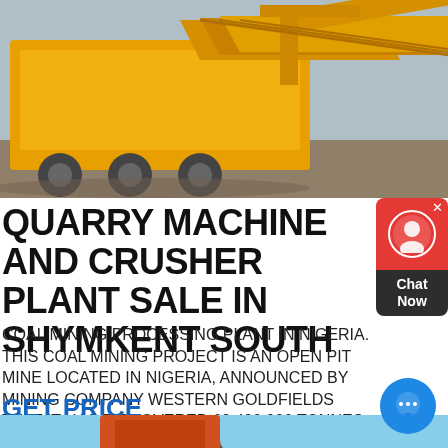[Figure (photo): Yellow quarry machine and crusher plant equipment outdoors]
QUARRY MACHINE AND CRUSHER PLANT SALE IN SHYMKENT SOUTH
COAL MINING PROCESSING PLANT IN NIGERIA. THIS COAL MINING PROJECT IS AN OPEN PIT MINE LOCATED IN NIGERIA, ANNOUNCED BY MINING COMPANY WESTERN GOLDFIELDS THAT IT HAS DISCOVERED 62,400,000 TONNES OF
GET PRICE
[Figure (photo): Orange and black industrial conveyor or crusher equipment against blue sky]